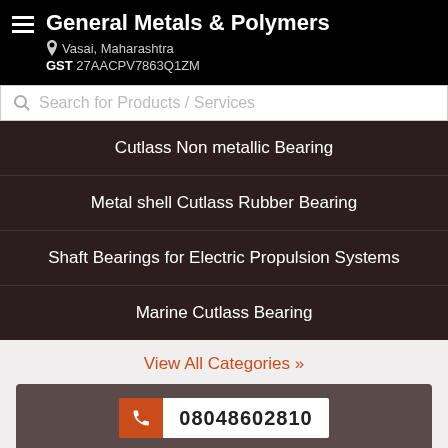General Metals & Polymers
Vasai, Maharashtra
GST 27AACPV7863Q1ZM
Search for Products / Services
Cutlass Non metallic Bearing
Metal shell Cutlass Rubber Bearing
Shaft Bearings for Electric Propulsion Systems
Marine Cutlass Bearing
View All Categories »
08048602810